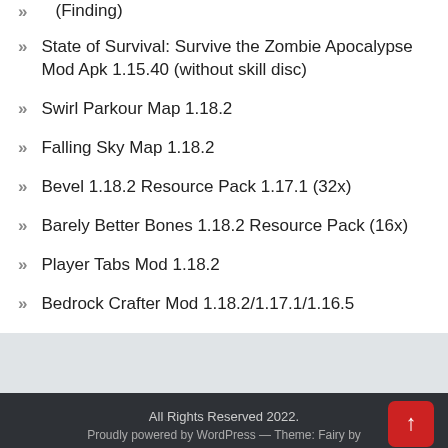(Finding)
State of Survival: Survive the Zombie Apocalypse Mod Apk 1.15.40 (without skill disc)
Swirl Parkour Map 1.18.2
Falling Sky Map 1.18.2
Bevel 1.18.2 Resource Pack 1.17.1 (32x)
Barely Better Bones 1.18.2 Resource Pack (16x)
Player Tabs Mod 1.18.2
Bedrock Crafter Mod 1.18.2/1.17.1/1.16.5
All Rights Reserved 2022.
Proudly powered by WordPress — Theme: Fairy by